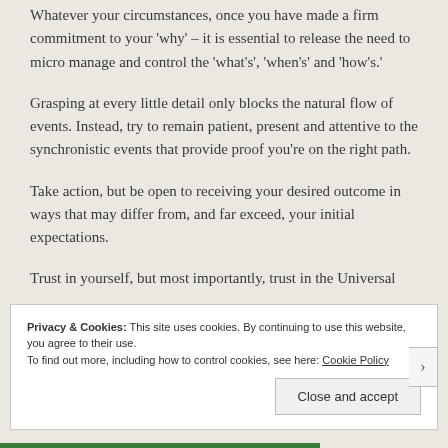Whatever your circumstances, once you have made a firm commitment to your 'why' – it is essential to release the need to micro manage and control the 'what's', 'when's' and 'how's.'
Grasping at every little detail only blocks the natural flow of events. Instead, try to remain patient, present and attentive to the synchronistic events that provide proof you're on the right path.
Take action, but be open to receiving your desired outcome in ways that may differ from, and far exceed, your initial expectations.
Trust in yourself, but most importantly, trust in the Universal
Privacy & Cookies: This site uses cookies. By continuing to use this website, you agree to their use.
To find out more, including how to control cookies, see here: Cookie Policy